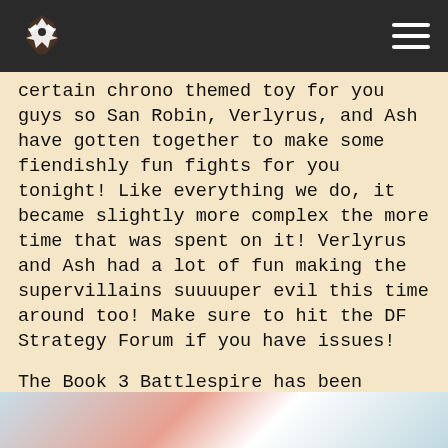[Logo] [Menu]
certain chrono themed toy for you guys so San Robin, Verlyrus, and Ash have gotten together to make some fiendishly fun fights for you tonight! Like everything we do, it became slightly more complex the more time that was spent on it! Verlyrus and Ash had a lot of fun making the supervillains suuuuper evil this time around too! Make sure to hit the DF Strategy Forum if you have issues!
The Book 3 Battlespire has been overtaken and Batoro and San Robin both showed up at the same time to see what happened… now the new resident villains want to fight but no masks are allowed! So they need your help to take them doooooown! Can you beat all six of these new super villains?
[Figure (illustration): Partial view of a colorful game illustration at the bottom of the page, showing characters in red and other colors.]